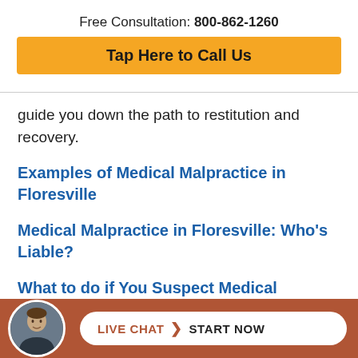Free Consultation: 800-862-1260
Tap Here to Call Us
guide you down the path to restitution and recovery.
Examples of Medical Malpractice in Floresville
Medical Malpractice in Floresville: Who's Liable?
What to do if You Suspect Medical Malpractice in Floresville
LIVE CHAT  START NOW